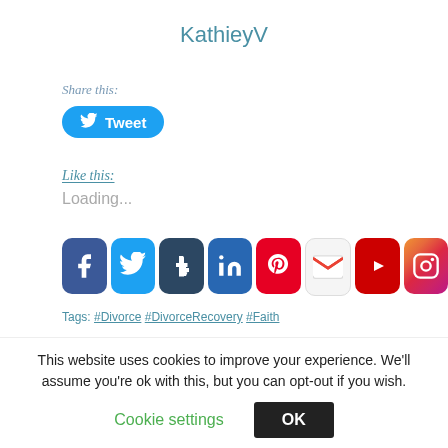KathieyV
Share this:
[Figure (other): Tweet button with Twitter bird icon]
Like this:
Loading...
[Figure (other): Social media share icons: Facebook, Twitter, Tumblr, LinkedIn, Pinterest, Gmail, YouTube, Instagram]
Tags: #Divorce  #DivorceRecovery  #Faith
This website uses cookies to improve your experience. We'll assume you're ok with this, but you can opt-out if you wish.
Cookie settings    OK